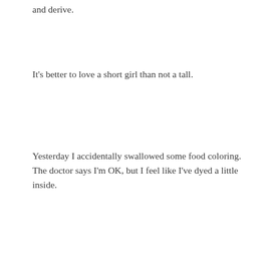and derive.
It's better to love a short girl than not a tall.
Yesterday I accidentally swallowed some food coloring.
The doctor says I'm OK, but I feel like I've dyed a little inside.